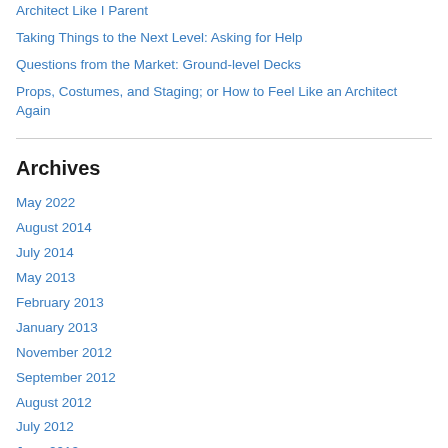Architect Like I Parent
Taking Things to the Next Level: Asking for Help
Questions from the Market: Ground-level Decks
Props, Costumes, and Staging; or How to Feel Like an Architect Again
Archives
May 2022
August 2014
July 2014
May 2013
February 2013
January 2013
November 2012
September 2012
August 2012
July 2012
June 2012
May 2012
April 2012